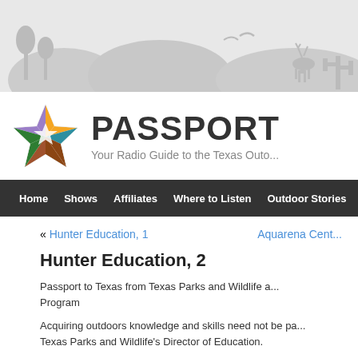[Figure (illustration): Gray silhouette banner with outdoor Texas nature scene showing trees, deer, mountains, and wildlife]
[Figure (logo): Passport to Texas star logo with colored segments: purple bat, orange sun rays, green leaf, teal bird, brown buffalo/arrowhead. Next to large bold text PASSPORT and subtitle Your Radio Guide to the Texas Outdoors]
Home  Shows  Affiliates  Where to Listen  Outdoor Stories  A...
« Hunter Education, 1    Aquarena Cent...
Hunter Education, 2
Passport to Texas from Texas Parks and Wildlife a... Program
Acquiring outdoors knowledge and skills need not be pa... Texas Parks and Wildlife's Director of Education.